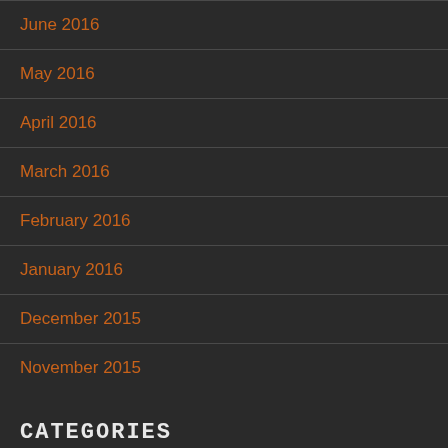June 2016
May 2016
April 2016
March 2016
February 2016
January 2016
December 2015
November 2015
CATEGORIES
Uncategorized